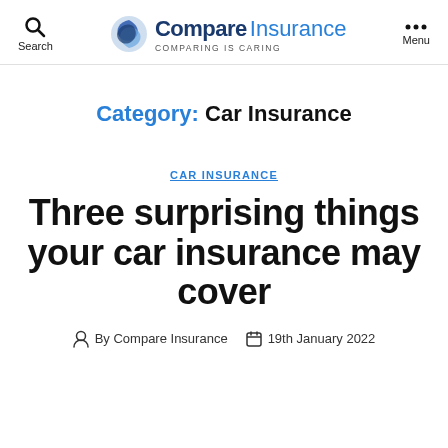Search | Compare Insurance COMPARING IS CARING | Menu
Category: Car Insurance
CAR INSURANCE
Three surprising things your car insurance may cover
By Compare Insurance  19th January 2022